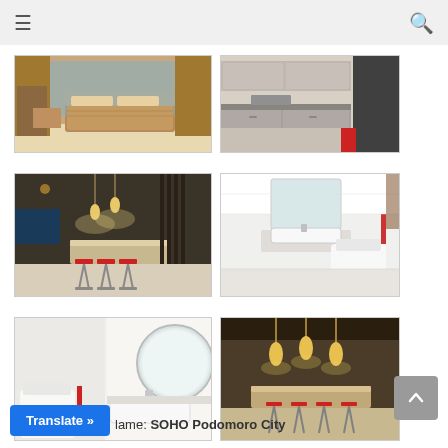Navigation bar with hamburger menu and search icon
[Figure (photo): Interior apartment bedroom with large bed, golden curtains and warm lighting]
[Figure (photo): Modern kitchen interior with cabinets and counter]
[Figure (photo): Living area with bar stools and pendant lights]
[Figure (photo): White bathroom with wall-mounted sink and toilet]
[Figure (photo): Bathroom with circular mirror, toilet and sink]
[Figure (photo): Bar area with pendant lighting and red bar stools]
Translate »
lame: SOHO Podomoro City